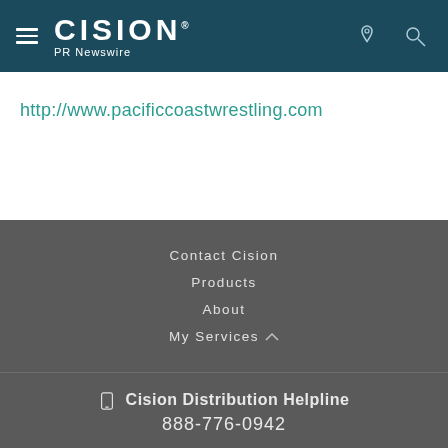Cision PR Newswire
http://www.pacificcoastwrestling.com
Contact Cision
Products
About
My Services
Cision Distribution Helpline 888-776-0942
Terms of Use | Privacy Policy | Information Security Policy | Site Map | RSS | Cookie Settings Copyright © 2022 Cision US Inc.